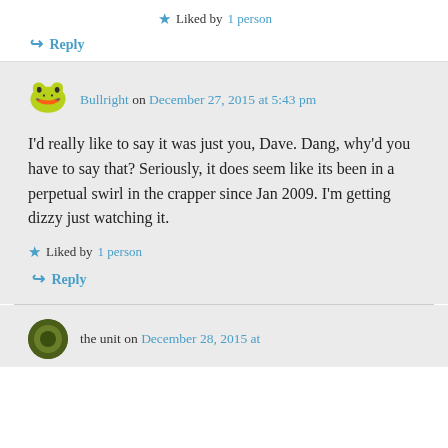★ Liked by 1 person
↪ Reply
Bullright on December 27, 2015 at 5:43 pm
I'd really like to say it was just you, Dave. Dang, why'd you have to say that? Seriously, it does seem like its been in a perpetual swirl in the crapper since Jan 2009. I'm getting dizzy just watching it.
★ Liked by 1 person
↪ Reply
the unit on December 28, 2015 at